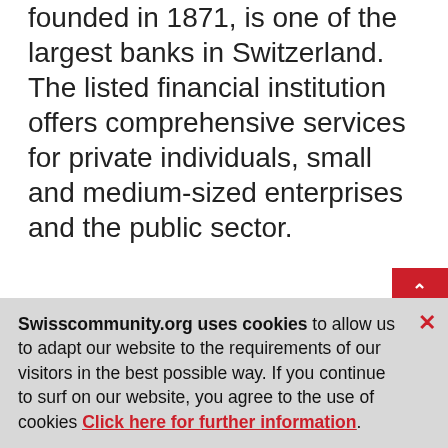founded in 1871, is one of the largest banks in Switzerland. The listed financial institution offers comprehensive services for private individuals, small and medium-sized enterprises and the public sector.
Services for Swiss Abroad
We are happy to serve Swiss customers w...
Swisscommunity.org uses cookies to allow us to adapt our website to the requirements of our visitors in the best possible way. If you continue to surf on our website, you agree to the use of cookies Click here for further information.